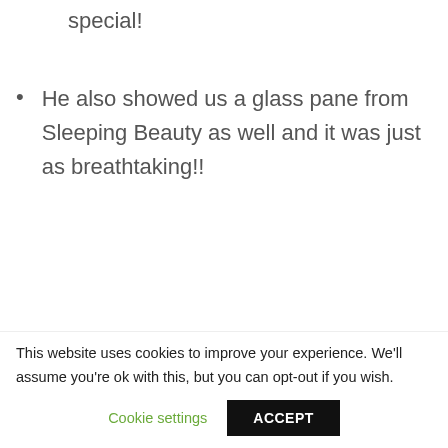special!
He also showed us a glass pane from Sleeping Beauty as well and it was just as breathtaking!!
[Figure (photo): Dark interior photo showing a room with shelves on the left, a wooden table/bench in the center, and dark walls in the background with some items hanging on the wall.]
This website uses cookies to improve your experience. We'll assume you're ok with this, but you can opt-out if you wish.